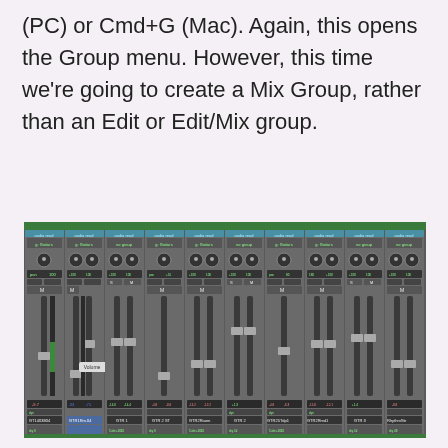(PC) or Cmd+G (Mac). Again, this opens the Group menu. However, this time we're going to create a Mix Group, rather than an Edit or Edit/Mix group.
[Figure (screenshot): Pro Tools mixer screenshot showing multiple audio tracks including GT1403804, GTR1Rm.04, GTR 1, GTR 2 ST, GTR2Room, GTR 2, GTR25Tdp1, GTR2Rmd1, GTR 3, and RhythmGtr channels with faders, pan knobs, mute/solo buttons, and volume automation tooltip visible.]